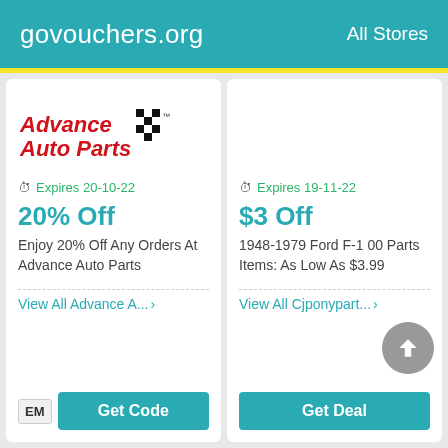govouchers.org   All Stores
[Figure (logo): Advance Auto Parts logo with red italic text and checkered flag icon]
Expires 20-10-22
20% Off
Enjoy 20% Off Any Orders At Advance Auto Parts
View All Advance A... >
EM  Get Code
Expires 19-11-22
$3 Off
1948-1979 Ford F-100 Parts Items: As Low As $3.99
View All Cjponypart... >
Get Deal